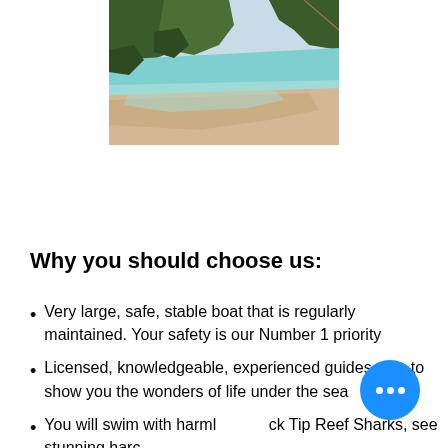[Figure (photo): Tropical beach with turquoise water, sandy shore, and green rocky cliffs in the background]
Why you should choose us:
Very large, safe, stable boat that is regularly maintained. Your safety is our Number 1 priority
Licensed, knowledgeable, experienced guides able to show you the wonders of life under the sea
You will swim with harmless Black Tip Reef Sharks, see stunning hard & soft corals and other of...